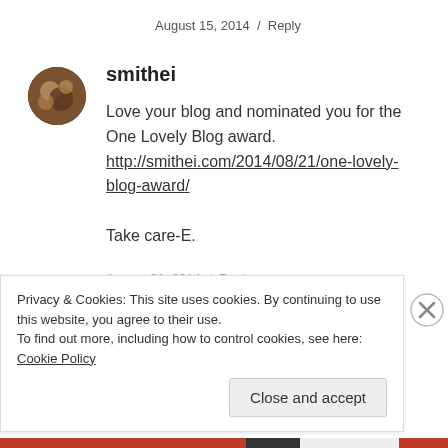August 15, 2014  /  Reply
[Figure (photo): Circular avatar photo of user smithei]
smithei
Love your blog and nominated you for the One Lovely Blog award. http://smithei.com/2014/08/21/one-lovely-blog-award/

Take care-E.
August 21, 2014  /  Reply
Privacy & Cookies: This site uses cookies. By continuing to use this website, you agree to their use.
To find out more, including how to control cookies, see here: Cookie Policy
Close and accept